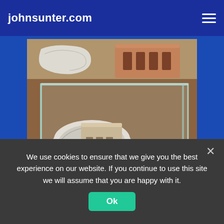johnsunter.com
[Figure (photo): Several bricks of different shapes, sizes and materials — including rough white stone pieces and a perforated terracotta brick — arranged on and around a glass tank on a wooden surface.]
Some of the bricks used to build and repair the castle.
We use cookies to ensure that we give you the best experience on our website. If you continue to use this site we will assume that you are happy with it.